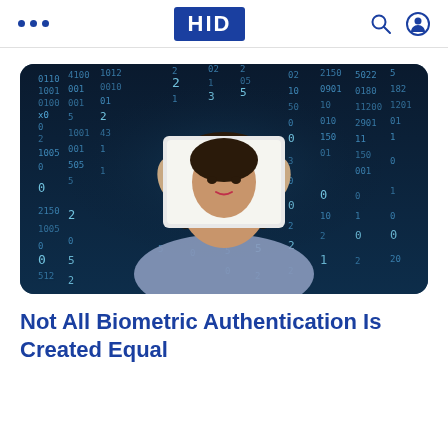HID
[Figure (photo): Woman holding a tablet up to her face displaying her portrait, with a matrix-style digital numbers background in blue tones]
Not All Biometric Authentication Is Created Equal